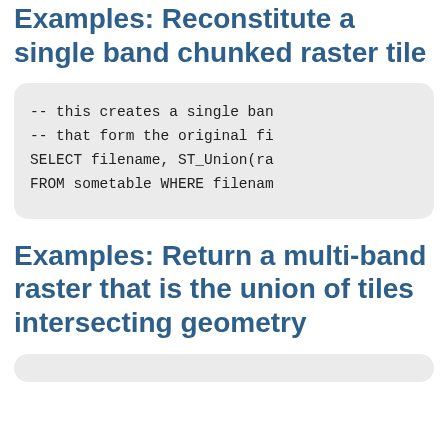Examples: Reconstitute a single band chunked raster tile
-- this creates a single band
-- that form the original fi
SELECT filename, ST_Union(ra
FROM sometable WHERE filenam
Examples: Return a multi-band raster that is the union of tiles intersecting geometry